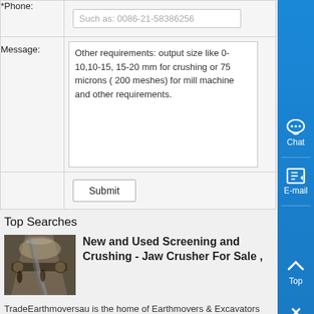| Label | Input |
| --- | --- |
| *Phone: | Such as: 0086-21-58386256 |
| Message: | Other requirements: output size like 0-10,10-15, 15-20 mm for crushing or 75 microns ( 200 meshes) for mill machine and other requirements. |
|  | Submit |
Top Searches
[Figure (photo): Industrial machinery interior with conveyor or crusher equipment]
New and Used Screening and Crushing - Jaw Crusher For Sale ,
TradeEarthmoversau is the home of Earthmovers & Excavators magazine and has over 40,000 new and used earthmoving & construction machinery items for sale across a wide range of categories including spare parts,